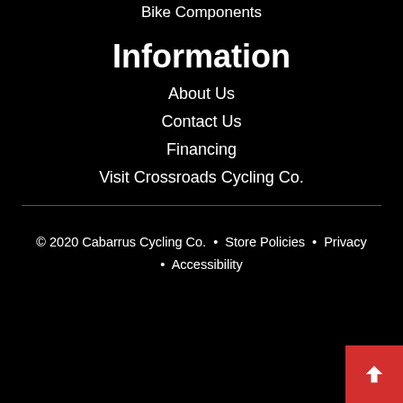Bike Components
Information
About Us
Contact Us
Financing
Visit Crossroads Cycling Co.
© 2020 Cabarrus Cycling Co.  •  Store Policies  •  Privacy  •  Accessibility